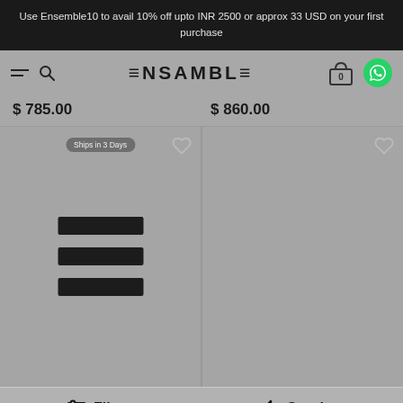Use Ensemble10 to avail 10% off upto INR 2500 or approx 33 USD on your first purchase
ENSEMBLE
$ 785.00  $ 860.00
[Figure (screenshot): E-commerce product grid showing two product cards side by side with loading skeleton bars, Ships in 3 Days badge, and heart/wishlist icons]
Filter  Sort by